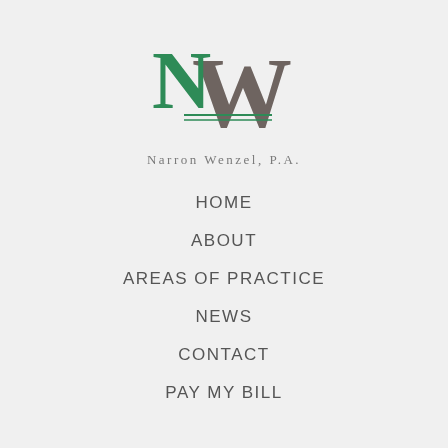[Figure (logo): Narron Wenzel P.A. law firm logo with large green N and gray W monogram letters, with double green underline, and firm name below in spaced serif capitals]
HOME
ABOUT
AREAS OF PRACTICE
NEWS
CONTACT
PAY MY BILL